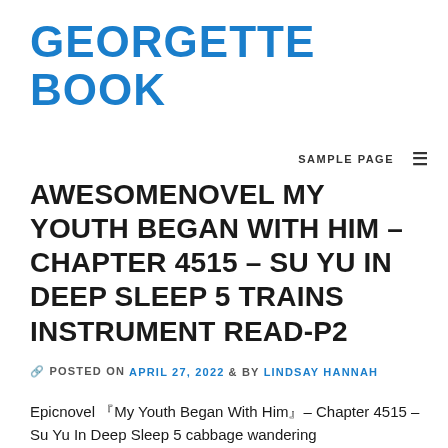GEORGETTE BOOK
SAMPLE PAGE  ≡
AWESOMENOVEL MY YOUTH BEGAN WITH HIM – CHAPTER 4515 – SU YU IN DEEP SLEEP 5 TRAINS INSTRUMENT READ-P2
🔗 POSTED ON APRIL 27, 2022  & BY LINDSAY HANNAH
Epicnovel 『My Youth Began With Him』– Chapter 4515 – Su Yu In Deep Sleep 5 cabbage wandering recommendation-p2